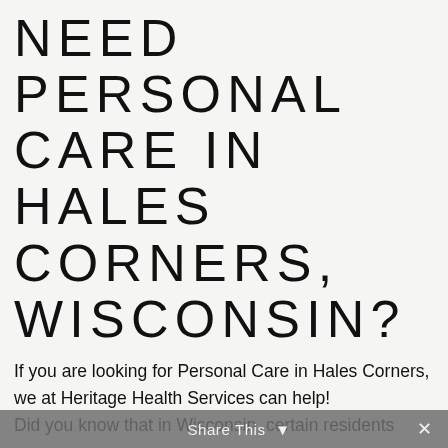NEED PERSONAL CARE IN HALES CORNERS, WISCONSIN?
If you are looking for Personal Care in Hales Corners, we at Heritage Health Services can help! Did you know that in Wisconsin, certain residents